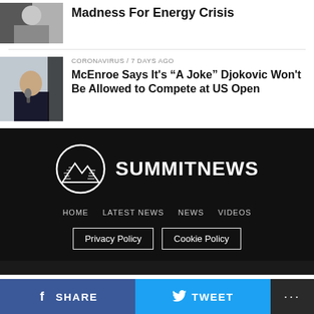[Figure (photo): Portrait photo of a man, partially visible at top]
Madness For Energy Crisis
CORONAVIRUS / 7 days ago
[Figure (photo): Man in dark suit holding a microphone]
McEnroe Says It’s “A Joke” Djokovic Won’t Be Allowed to Compete at US Open
[Figure (logo): Summit News logo with mountain icon and white text SUMMITNEWS on dark background]
HOME    LATEST NEWS    NEWS    VIDEOS
Privacy Policy    Cookie Policy
SHARE
TWEET